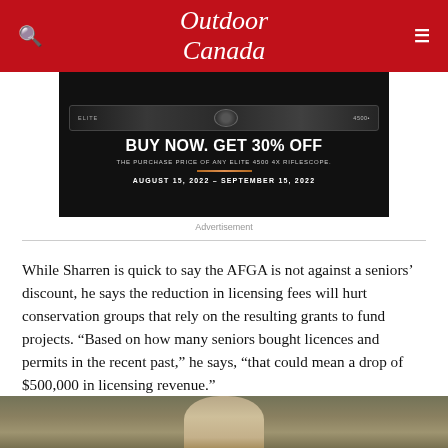Outdoor Canada
[Figure (screenshot): Advertisement for Elite 4500 4x Riflescope: BUY NOW. GET 30% OFF THE PURCHASE PRICE OF ANY ELITE 4500 4X RIFLESCOPE. AUGUST 15, 2022 – SEPTEMBER 15, 2022]
Advertisement
While Sharren is quick to say the AFGA is not against a seniors' discount, he says the reduction in licensing fees will hurt conservation groups that rely on the resulting grants to fund projects. “Based on how many seniors bought licences and permits in the recent past,” he says, “that could mean a drop of $500,000 in licensing revenue.”
[Figure (photo): Bottom portion of a person's photo, showing top of head with grey/white hair, outdoors in a field]